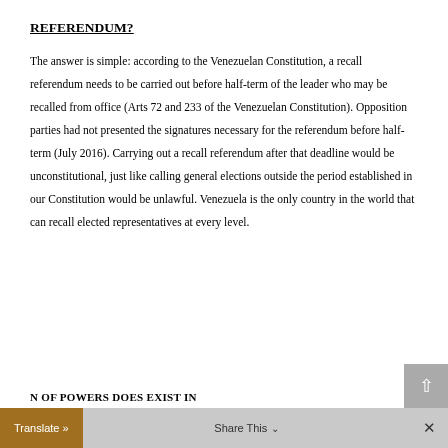REFERENDUM?
The answer is simple: according to the Venezuelan Constitution, a recall referendum needs to be carried out before half-term of the leader who may be recalled from office (Arts 72 and 233 of the Venezuelan Constitution). Opposition parties had not presented the signatures necessary for the referendum before half-term (July 2016). Carrying out a recall referendum after that deadline would be unconstitutional, just like calling general elections outside the period established in our Constitution would be unlawful. Venezuela is the only country in the world that can recall elected representatives at every level.
N OF POWERS DOES EXIST IN